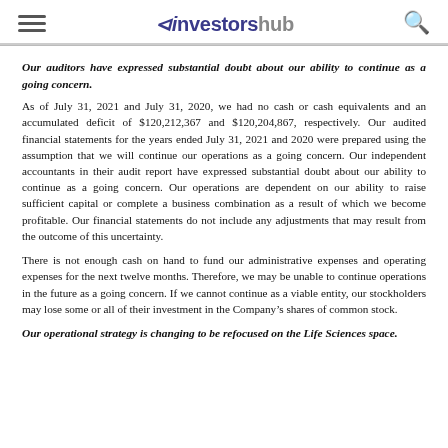investorshub
Our auditors have expressed substantial doubt about our ability to continue as a going concern.
As of July 31, 2021 and July 31, 2020, we had no cash or cash equivalents and an accumulated deficit of $120,212,367 and $120,204,867, respectively. Our audited financial statements for the years ended July 31, 2021 and 2020 were prepared using the assumption that we will continue our operations as a going concern. Our independent accountants in their audit report have expressed substantial doubt about our ability to continue as a going concern. Our operations are dependent on our ability to raise sufficient capital or complete a business combination as a result of which we become profitable. Our financial statements do not include any adjustments that may result from the outcome of this uncertainty.
There is not enough cash on hand to fund our administrative expenses and operating expenses for the next twelve months. Therefore, we may be unable to continue operations in the future as a going concern. If we cannot continue as a viable entity, our stockholders may lose some or all of their investment in the Company’s shares of common stock.
Our operational strategy is changing to be refocused on the Life Sciences space.